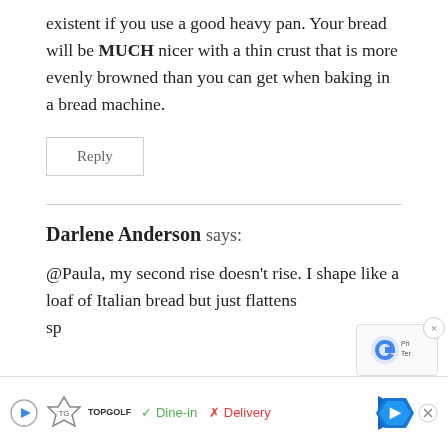existent if you use a good heavy pan. Your bread will be MUCH nicer with a thin crust that is more evenly browned than you can get when baking in a bread machine.
Reply
Darlene Anderson says:
@Paula, my second rise doesn't rise. I shape like a loaf of Italian bread but just flattens sp...
[Figure (other): Advertisement bar showing TopGolf logo, Dine-in (checkmark), Delivery (X), and navigation arrow icon. Also shows reCAPTCHA widget with close button.]